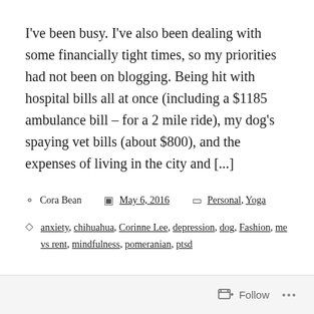I've been busy. I've also been dealing with some financially tight times, so my priorities had not been on blogging. Being hit with hospital bills all at once (including a $1185 ambulance bill – for a 2 mile ride), my dog's spaying vet bills (about $800), and the expenses of living in the city and [...]
Cora Bean  May 6, 2016  Personal, Yoga
anxiety, chihuahua, Corinne Lee, depression, dog, Fashion, me vs rent, mindfulness, pomeranian, ptsd
Follow ...